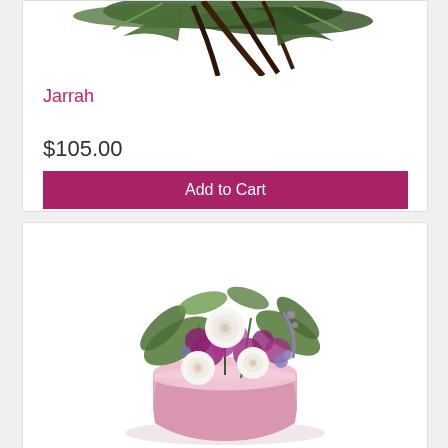[Figure (photo): Top portion of a floral arrangement showing dark green fern/foliage stems with dark feathers, cropped at the top]
Jarrah
$105.00
Add to Cart
[Figure (photo): A floral arrangement in a round pink vase featuring white roses, purple/magenta carnations and statice, with green foliage. The arrangement sits on a white background with a soft shadow.]